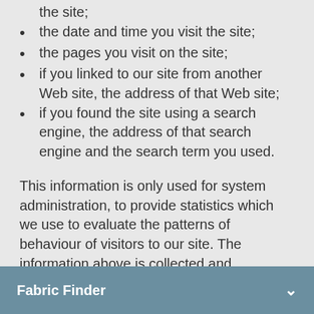the site;
the date and time you visit the site;
the pages you visit on the site;
if you linked to our site from another Web site, the address of that Web site;
if you found the site using a search engine, the address of that search engine and the search term you used.
This information is only used for system administration, to provide statistics which we use to evaluate the patterns of behaviour of visitors to our site. The information above is collected and processed in a way that does not identify individual users.
Fabric Finder